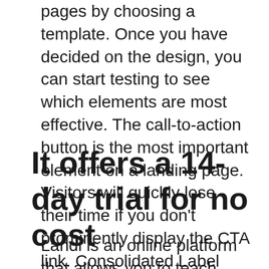pages by choosing a template. Once you have decided on the design, you can start testing to see which elements are most effective. The call-to-action button is the most important element on a landing page. Visitors will quickly lose their time if you don't prominently display the CTA link. Consolidated Label tested a variation of the CTA button without success. This variation was responsible for 62 percent of the conversions.
It offers a 14-day trial for no cost
Landi is an online platform that allows you to teach English to young children via virtual